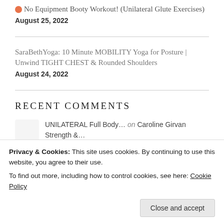No Equipment Booty Workout! (Unilateral Glute Exercises)
August 25, 2022
SaraBethYoga: 10 Minute MOBILITY Yoga for Posture | Unwind TIGHT CHEST & Rounded Shoulders
August 24, 2022
RECENT COMMENTS
UNILATERAL Full Body… on Caroline Girvan Strength &…
2lazy4gym on Fat Burning HIIT CARDIO Low Im…
Privacy & Cookies: This site uses cookies. By continuing to use this website, you agree to their use.
To find out more, including how to control cookies, see here: Cookie Policy
Close and accept